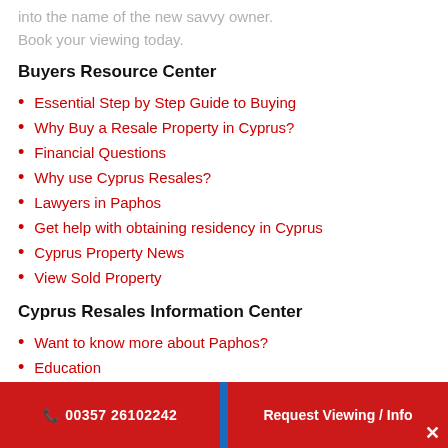into the name of the new savvy owner.
Book your viewing today.
Buyers Resource Center
Essential Step by Step Guide to Buying
Why Buy a Resale Property in Cyprus?
Financial Questions
Why use Cyprus Resales?
Lawyers in Paphos
Get help with obtaining residency in Cyprus
Cyprus Property News
View Sold Property
Cyprus Resales Information Center
Want to know more about Paphos?
Education
Beaches and Coastline
Cyprus Resales Buyer Testimonials
00357 26102242   Request Viewing / Info